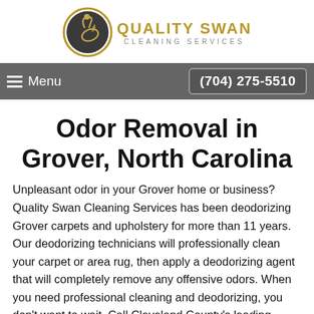[Figure (logo): Quality Swan Cleaning Services logo with swan emblem in golden circle and gold text]
Menu  (704) 275-5510
Odor Removal in Grover, North Carolina
Unpleasant odor in your Grover home or business? Quality Swan Cleaning Services has been deodorizing Grover carpets and upholstery for more than 11 years. Our deodorizing technicians will professionally clean your carpet or area rug, then apply a deodorizing agent that will completely remove any offensive odors. When you need professional cleaning and deodorizing, you don't want to wait. Call Cleveland County's leading deodorizing